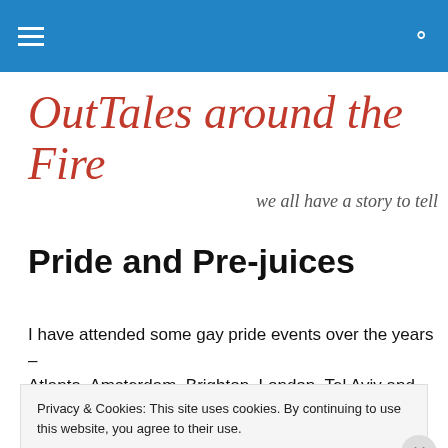OutTales around the Fire — navigation bar
OutTales around the Fire
we all have a story to tell
Pride and Pre-juices
I have attended some gay pride events over the years – Atlanta, Amsterdam, Brighton, London, Tel Aviv and Miami
Privacy & Cookies: This site uses cookies. By continuing to use this website, you agree to their use.
To find out more, including how to control cookies, see here: Cookie Policy